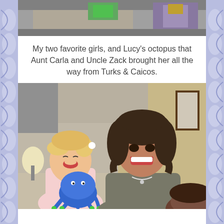[Figure (photo): Partial top photo showing colorful items in upper portion of the image, cropped]
My two favorite girls, and Lucy’s octopus that Aunt Carla and Uncle Zack brought her all the way from Turks & Caicos.
[Figure (photo): A woman with dark curly hair smiling, holding a blue octopus stuffed animal, with a laughing toddler girl with blonde pigtails on the left, and another child partially visible at bottom right. Indoor setting with a framed picture on the wall.]